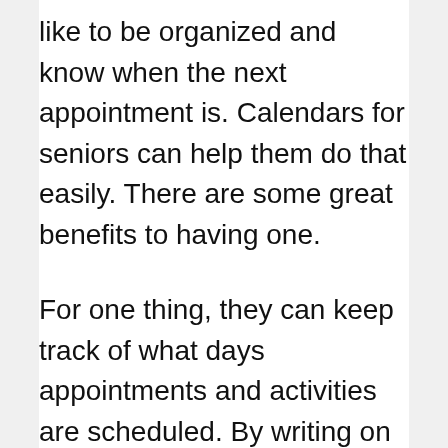like to be organized and know when the next appointment is. Calendars for seniors can help them do that easily. There are some great benefits to having one.
For one thing, they can keep track of what days appointments and activities are scheduled. By writing on a calendar